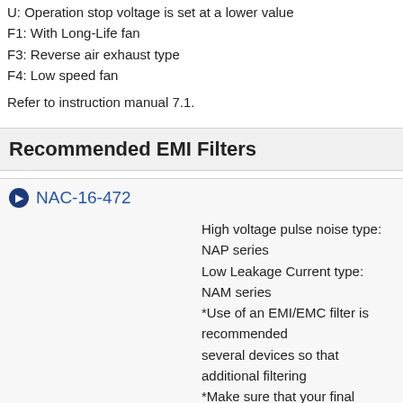U: Operation stop voltage is set at a lower value
F1: With Long-Life fan
F3: Reverse air exhaust type
F4: Low speed fan
Refer to instruction manual 7.1.
Recommended EMI Filters
NAC-16-472
High voltage pulse noise type: NAP series Low Leakage Current type: NAM series *Use of an EMI/EMC filter is recommended several devices so that additional filtering *Make sure that your final application will measuring the EMI level of the power s